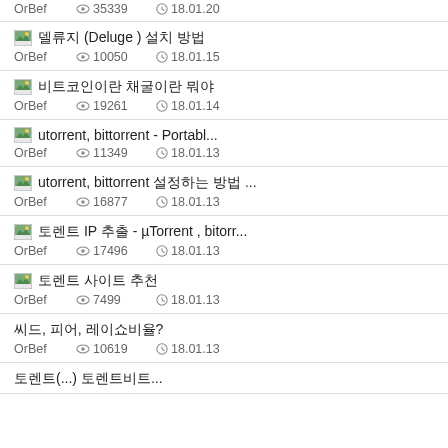OrBef  👁 35339  🕐 18.01.20
🖼 ??? (Deluge ) ?? ??  OrBef  👁 10050  🕐 18.01.15
🖼 ??????? ????? ??  OrBef  👁 19261  🕐 18.01.14
🖼 utorrent, bittorrent - Portabl...  OrBef  👁 11349  🕐 18.01.13
🖼 utorrent, bittorrent ?????? ?? ...  OrBef  👁 16877  🕐 18.01.13
🖼 ??? IP ?? - µTorrent , bitorr...  OrBef  👁 17496  🕐 18.01.13
🖼 ??? ???? ??  OrBef  👁 7499  🕐 18.01.13
??, ??, ???????  OrBef  👁 10619  🕐 18.01.13
???(...) ????????...